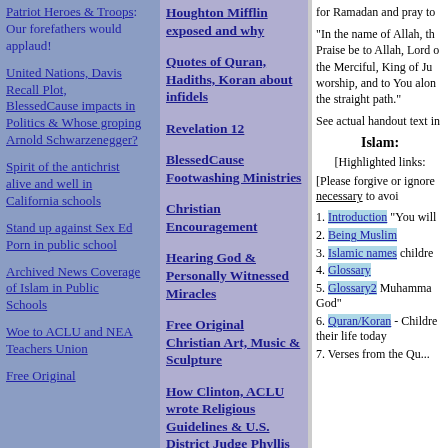Patriot Heroes & Troops: Our forefathers would applaud!
United Nations, Davis Recall Plot, BlessedCause impacts in Politics & Whose groping Arnold Schwarzenegger?
Spirit of the antichrist alive and well in California schools
Stand up against Sex Ed Porn in public school
Archived News Coverage of Islam in Public Schools
Woe to ACLU and NEA Teachers Union
Free Original
Houghton Mifflin exposed and why
Quotes of Quran, Hadiths, Koran about infidels
Revelation 12
BlessedCause Footwashing Ministries
Christian Encouragement
Hearing God & Personally Witnessed Miracles
Free Original Christian Art, Music & Sculpture
How Clinton, ACLU wrote Religious Guidelines & U.S. District Judge Phyllis
for Ramadan and pray to
"In the name of Allah, th... Praise be to Allah, Lord o... the Merciful, King of Ju... worship, and to You alon... the straight path."
See actual handout text in
Islam:
[Highlighted links:
[Please forgive or ignore... necessary to avoi
1. Introduction "You will
2. Being Muslim
3. Islamic names childre
4. Glossary
5. Glossary2  Muhamma... God"
6. Quran/Koran - Childre... their life today
7. Verses from the Qu...